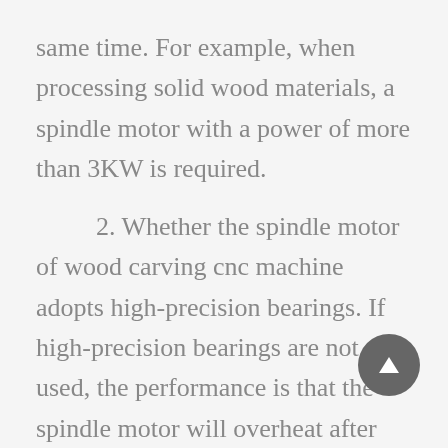same time. For example, when processing solid wood materials, a spindle motor with a power of more than 3KW is required.
2. Whether the spindle motor of wood carving cnc machine adopts high-precision bearings. If high-precision bearings are not used, the performance is that the spindle motor will overheat after long-term high-speed rotation, which will affect the service life of the spindle motor.
3. Listen to whether the sound of the wood carving cnc machine spindle rotates